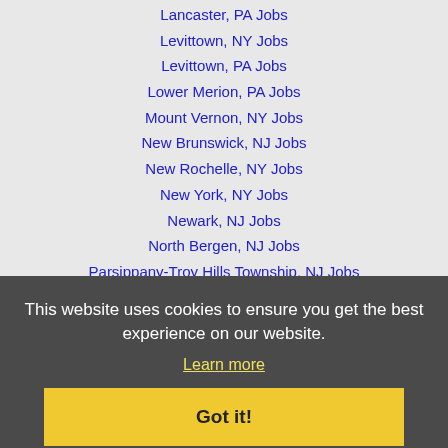Lancaster, PA Jobs
Levittown, NY Jobs
Levittown, PA Jobs
Lower Merion, PA Jobs
Mount Vernon, NY Jobs
New Brunswick, NJ Jobs
New Rochelle, NY Jobs
New York, NY Jobs
Newark, NJ Jobs
North Bergen, NJ Jobs
Parsippany-Troy Hills Township, NJ Jobs
Passaic, NJ Jobs
Paterson, NJ Jobs
Perth Amboy, NJ Jobs
Plainfield, NJ Jobs
Reading, PA Jobs
Sayreville, NJ Jobs
Toms River, NJ Jobs
This website uses cookies to ensure you get the best experience on our website.
Learn more
Got it!